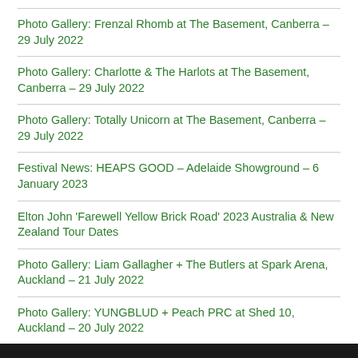Photo Gallery: Frenzal Rhomb at The Basement, Canberra – 29 July 2022
Photo Gallery: Charlotte & The Harlots at The Basement, Canberra – 29 July 2022
Photo Gallery: Totally Unicorn at The Basement, Canberra – 29 July 2022
Festival News: HEAPS GOOD – Adelaide Showground – 6 January 2023
Elton John 'Farewell Yellow Brick Road' 2023 Australia & New Zealand Tour Dates
Photo Gallery: Liam Gallagher + The Butlers at Spark Arena, Auckland – 21 July 2022
Photo Gallery: YUNGBLUD + Peach PRC at Shed 10, Auckland – 20 July 2022